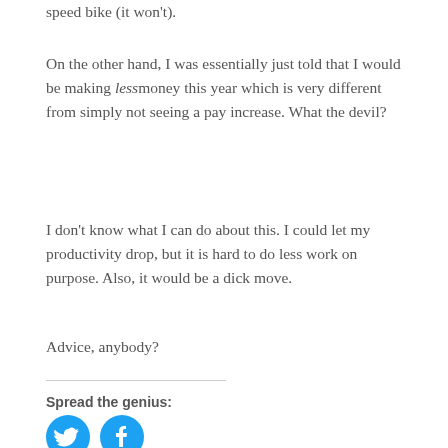speed bike (it won't).
On the other hand, I was essentially just told that I would be making less money this year which is very different from simply not seeing a pay increase. What the devil?
I don't know what I can do about this. I could let my productivity drop, but it is hard to do less work on purpose. Also, it would be a dick move.
Advice, anybody?
Spread the genius: